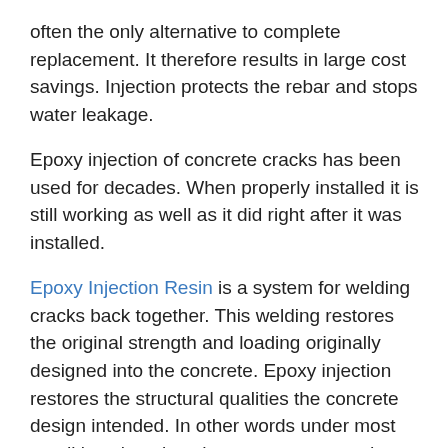often the only alternative to complete replacement. It therefore results in large cost savings. Injection protects the rebar and stops water leakage.
Epoxy injection of concrete cracks has been used for decades. When properly installed it is still working as well as it did right after it was installed.
Epoxy Injection Resin is a system for welding cracks back together. This welding restores the original strength and loading originally designed into the concrete. Epoxy injection restores the structural qualities the concrete design intended. In other words under most conditions it makes the concrete as good as new. It creates an impervious seal to air, water, chemicals, debris, and other contamination.